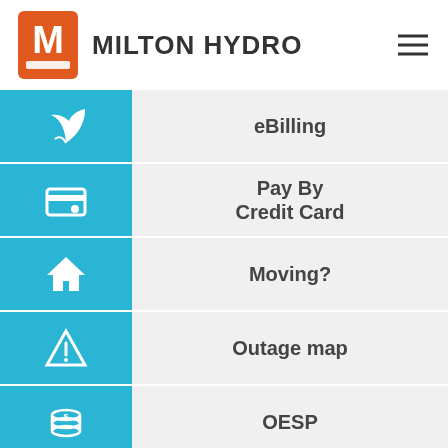[Figure (logo): Milton Hydro logo with orange/red M icon and bold text MILTON HYDRO]
eBilling
Pay By Credit Card
Moving?
Outage map
OESP
10 Smart